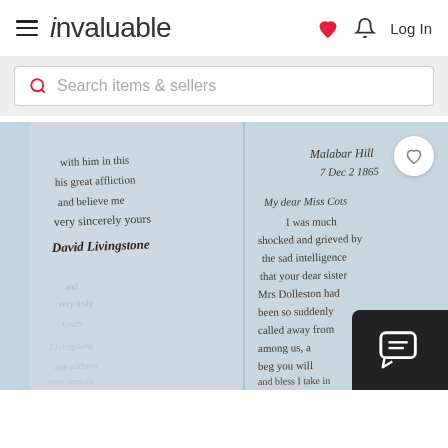invaluable — Log In
Search items & sellers
[Figure (photo): Handwritten letter signed by David Livingstone, dated Malabar Hill, 7 Dec 1865. Left page shows closing: 'with him in this his great affliction and believe me very sincerely yours David Livingstone'. Right page begins: 'My dear Miss Cots, I was much shocked and grieved by the sad intelligence that your dear sister Mrs Dolleston had been so suddenly called away from among us, a...']